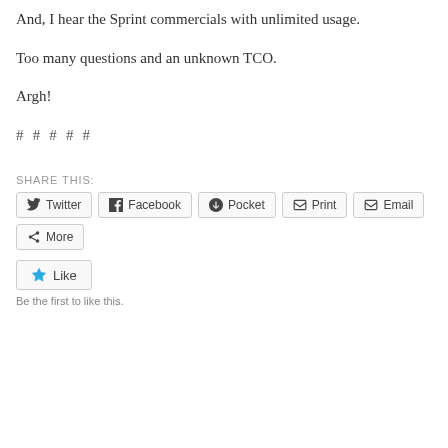And, I hear the Sprint commercials with unlimited usage.
Too many questions and an unknown TCO.
Argh!
# # # # #
SHARE THIS:
Twitter Facebook Pocket Print Email More
Like
Be the first to like this.